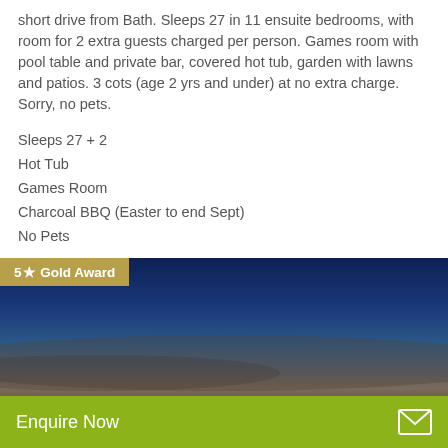short drive from Bath. Sleeps 27 in 11 ensuite bedrooms, with room for 2 extra guests charged per person. Games room with pool table and private bar, covered hot tub, garden with lawns and patios. 3 cots (age 2 yrs and under) at no extra charge. Sorry, no pets.
Sleeps 27 + 2
Hot Tub
Games Room
Charcoal BBQ (Easter to end Sept)
No Pets
[Figure (photo): Outdoor twilight/dusk sky photograph with dark blue upper sky fading to brownish-grey tones near the horizon, likely an exterior property photo]
5★ Gold Award
Enquire Now